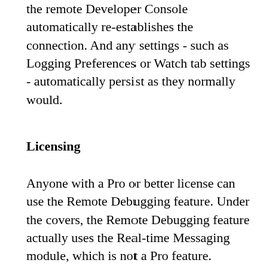the remote Developer Console automatically re-establishes the connection. And any settings - such as Logging Preferences or Watch tab settings - automatically persist as they normally would.
Licensing
Anyone with a Pro or better license can use the Remote Debugging feature. Under the covers, the Remote Debugging feature actually uses the Real-time Messaging module, which is not a Pro feature. However we've rearranged things so that Pro users can use Real-time Messaging just for Remote Debugging. This does mean that, if you are upgrading your environment to the current release and you don't already have Real-time Messaging, you will need to follow the installation steps normally required for Real-time Messaging before the Remote Debugging